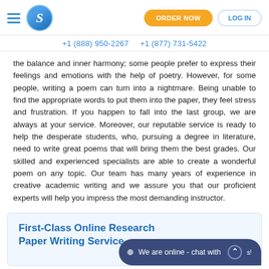S | ORDER NOW | LOG IN
+1 (888) 950-2267   +1 (877) 731-5422
the balance and inner harmony; some people prefer to express their feelings and emotions with the help of poetry. However, for some people, writing a poem can turn into a nightmare. Being unable to find the appropriate words to put them into the paper, they feel stress and frustration. If you happen to fall into the last group, we are always at your service. Moreover, our reputable service is ready to help the desperate students, who, pursuing a degree in literature, need to write great poems that will bring them the best grades. Our skilled and experienced specialists are able to create a wonderful poem on any topic. Our team has many years of experience in creative academic writing and we assure you that our proficient experts will help you impress the most demanding instructor.
First-Class Online Research Paper Writing Service
We are online - chat with us!